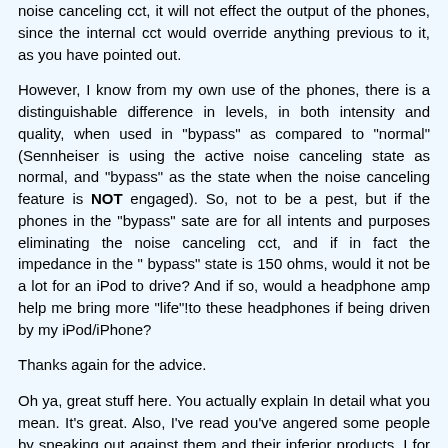noise canceling cct, it will not effect the output of the phones, since the internal cct would override anything previous to it, as you have pointed out.
However, I know from my own use of the phones, there is a distinguishable difference in levels, in both intensity and quality, when used in "bypass" as compared to "normal" (Sennheiser is using the active noise canceling state as normal, and "bypass" as the state when the noise canceling feature is NOT engaged). So, not to be a pest, but if the phones in the "bypass" sate are for all intents and purposes eliminating the noise canceling cct, and if in fact the impedance in the " bypass" state is 150 ohms, would it not be a lot for an iPod to drive? And if so, would a headphone amp help me bring more "life"!to these headphones if being driven by my iPod/iPhone?
Thanks again for the advice.
Oh ya, great stuff here. You actually explain In detail what you mean. It's great. Also, I've read you've angered some people by speaking out against them and their inferior products. I for one love it. The situation around consumers